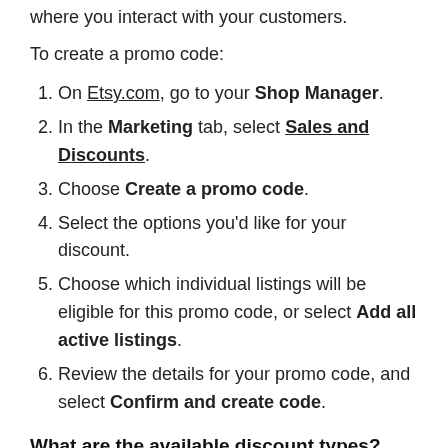where you interact with your customers.
To create a promo code:
On Etsy.com, go to your Shop Manager.
In the Marketing tab, select Sales and Discounts.
Choose Create a promo code.
Select the options you'd like for your discount.
Choose which individual listings will be eligible for this promo code, or select Add all active listings.
Review the details for your promo code, and select Confirm and create code.
What are the available discount types?
When creating a promo code, you can choose from the following discount types:
Percentage off: Offer any percentage off the list price of items in your shop.